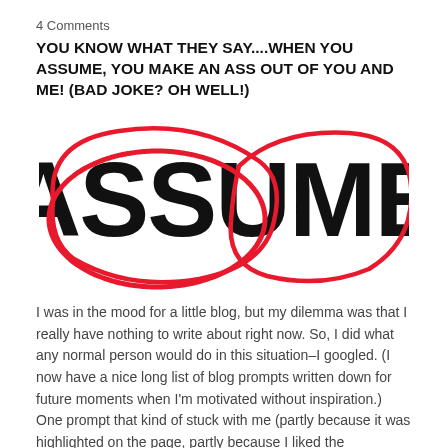4 Comments
YOU KNOW WHAT THEY SAY....WHEN YOU ASSUME, YOU MAKE AN ASS OUT OF YOU AND ME! (BAD JOKE? OH WELL!)
[Figure (illustration): The word ASSUME written in large bold black hand-lettering. The letters ASS are circled in red, and the letters UME are circled in a separate overlapping red ellipse.]
I was in the mood for a little blog, but my dilemma was that I really have nothing to write about right now. So, I did what any normal person would do in this situation–I googled. (I now have a nice long list of blog prompts written down for future moments when I'm motivated without inspiration.)
One prompt that kind of stuck with me (partly because it was highlighted on the page, partly because I liked the